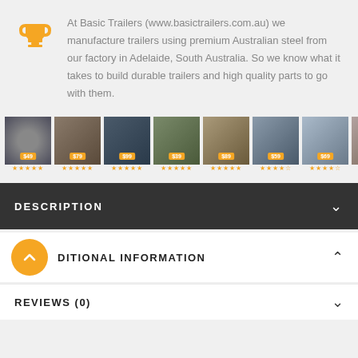At Basic Trailers (www.basictrailers.com.au) we manufacture trailers using premium Australian steel from our factory in Adelaide, South Australia. So we know what it takes to build durable trailers and high quality parts to go with them.
[Figure (photo): Row of product thumbnail photos with star ratings and price badges]
DESCRIPTION
ADDITIONAL INFORMATION
REVIEWS (0)